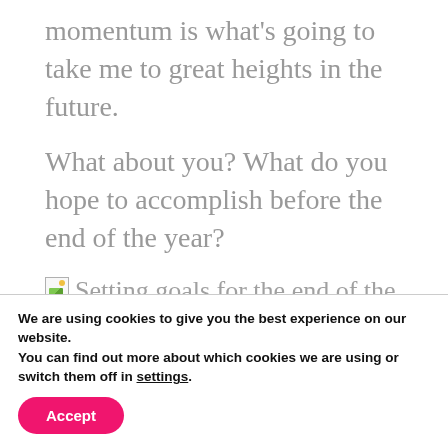momentum is what's going to take me to great heights in the future.
What about you? What do you hope to accomplish before the end of the year?
[Figure (illustration): Broken image placeholder icon followed by alt text: Setting goals for the end of the year]
Setting goals for the end of the year
We are using cookies to give you the best experience on our website.
You can find out more about which cookies we are using or switch them off in settings.
Accept